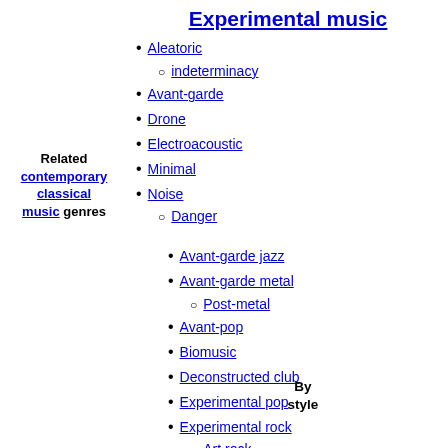Experimental music
Aleatoric
indeterminacy
Avant-garde
Drone
Electroacoustic
Minimal
Noise
Danger
Related contemporary classical music genres
Avant-garde jazz
Avant-garde metal
Post-metal
Avant-pop
Biomusic
Deconstructed club
Experimental pop
Experimental rock
Art rock
krautrock
math rock
neo-prog
noise rock
no wave
By style